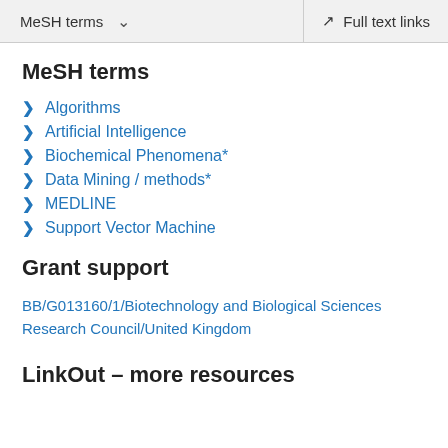MeSH terms   Full text links
MeSH terms
Algorithms
Artificial Intelligence
Biochemical Phenomena*
Data Mining / methods*
MEDLINE
Support Vector Machine
Grant support
BB/G013160/1/Biotechnology and Biological Sciences Research Council/United Kingdom
LinkOut – more resources